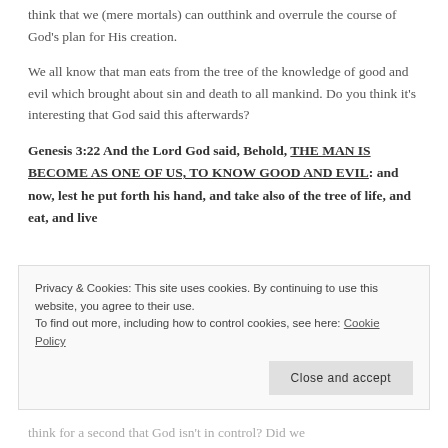think that we (mere mortals) can outthink and overrule the course of God's plan for His creation.
We all know that man eats from the tree of the knowledge of good and evil which brought about sin and death to all mankind. Do you think it's interesting that God said this afterwards?
Genesis 3:22 And the Lord God said, Behold, THE MAN IS BECOME AS ONE OF US, TO KNOW GOOD AND EVIL: and now, lest he put forth his hand, and take also of the tree of life, and eat, and live
think for a second that God isn't in control? Did we
Privacy & Cookies: This site uses cookies. By continuing to use this website, you agree to their use. To find out more, including how to control cookies, see here: Cookie Policy